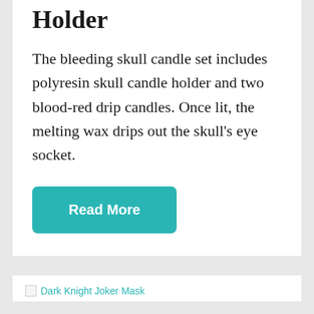Holder
The bleeding skull candle set includes polyresin skull candle holder and two blood-red drip candles. Once lit, the melting wax drips out the skull's eye socket.
Read More
[Figure (photo): Broken image placeholder labeled 'Dark Knight Joker Mask']
Dark Knight Joker Mask